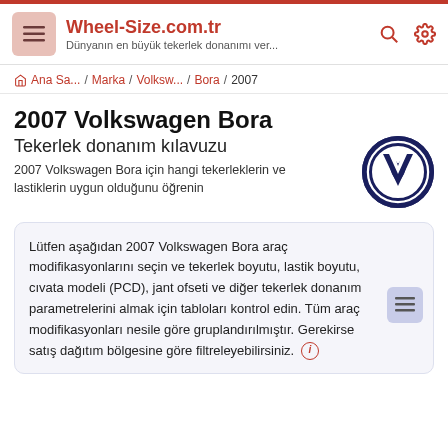Wheel-Size.com.tr — Dünyanın en büyük tekerlek donanımı ver...
Ana Sa... / Marka / Volksw... / Bora / 2007
2007 Volkswagen Bora
Tekerlek donanım kılavuzu
2007 Volkswagen Bora için hangi tekerleklerin ve lastiklerin uygun olduğunu öğrenin
Lütfen aşağıdan 2007 Volkswagen Bora araç modifikasyonlarını seçin ve tekerlek boyutu, lastik boyutu, cıvata modeli (PCD), jant ofseti ve diğer tekerlek donanım parametrelerini almak için tabloları kontrol edin. Tüm araç modifikasyonları nesile göre gruplandırılmıştır. Gerekirse satış dağıtım bölgesine göre filtreleyebilirsiniz.